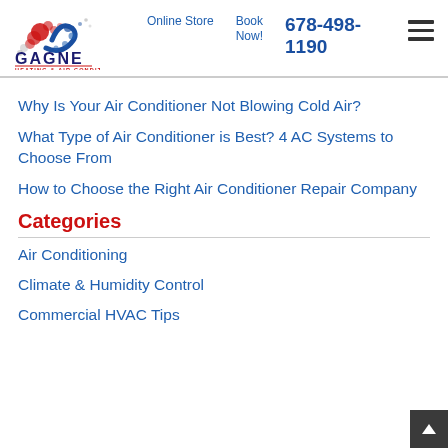Gagne Heating & Air Conditioning | Online Store | Book Now! | 678-498-1190
Why Is Your Air Conditioner Not Blowing Cold Air?
What Type of Air Conditioner is Best? 4 AC Systems to Choose From
How to Choose the Right Air Conditioner Repair Company
Categories
Air Conditioning
Climate & Humidity Control
Commercial HVAC Tips